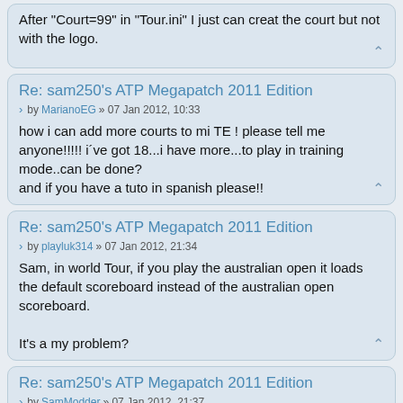After "Court=99" in "Tour.ini" I just can creat the court but not with the logo.
Re: sam250's ATP Megapatch 2011 Edition
by MarianoEG » 07 Jan 2012, 10:33
how i can add more courts to mi TE ! please tell me anyone!!!!! i´ve got 18...i have more...to play in training mode..can be done?
and if you have a tuto in spanish please!!
Re: sam250's ATP Megapatch 2011 Edition
by playluk314 » 07 Jan 2012, 21:34
Sam, in world Tour, if you play the australian open it loads the default scoreboard instead of the australian open scoreboard.

It's a my problem?
Re: sam250's ATP Megapatch 2011 Edition
by SamModder » 07 Jan 2012, 21:37
I will post a fix file tomorrow that fixes that problem dont worry 🙂